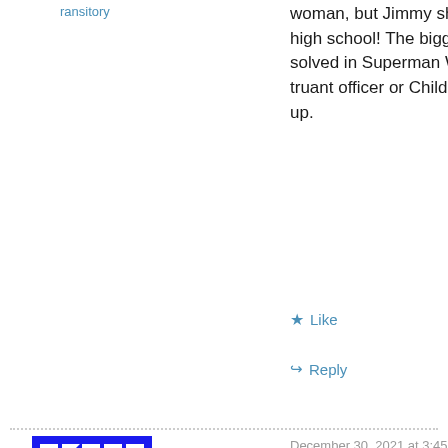ransitory
woman, but Jimmy should be a freshman in high school! The biggest mystery never solved in Superman World was why the truant officer or Child Welfare never showed up.
Like
Reply
December 30, 2021 at 3:45 am
[Figure (illustration): Blue and white geometric avatar logo for Ralph+Crown]
Ralph+Crown
I believe this is what the young people call a “shout out.” A certain segment of fans expects to see Olsen, so they get a brief look at Olsen. With all the reboots and remakes these days, you can probably think of a few characters who got carried